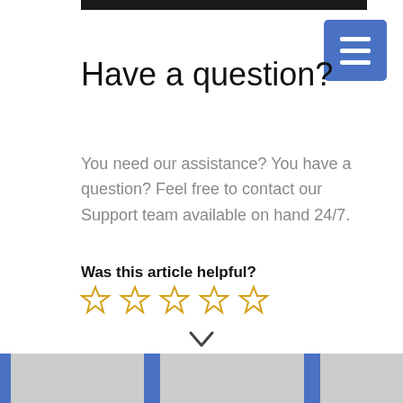Have a question?
You need our assistance? You have a question? Feel free to contact our Support team available on hand 24/7.
Was this article helpful?
[Figure (other): Five empty star rating icons in golden/yellow color]
[Figure (other): Chevron/down arrow icon]
[Figure (other): Bottom footer grid with alternating blue vertical bars and gray blocks]